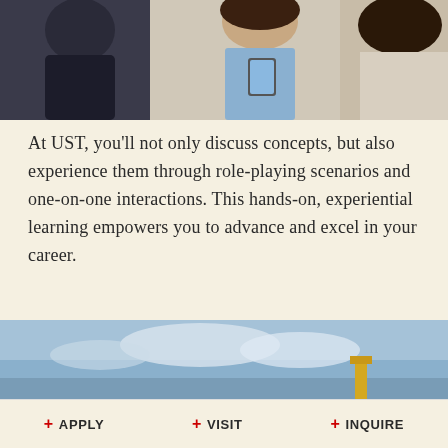[Figure (photo): Photo of people interacting, including a woman in a light blue shirt holding a tablet and a man in a dark suit, appearing to be in a professional or academic setting.]
At UST, you'll not only discuss concepts, but also experience them through role-playing scenarios and one-on-one interactions. This hands-on, experiential learning empowers you to advance and excel in your career.
[Figure (photo): Outdoor landscape photo with sky and what appears to be a building or structure with a yellow/gold element visible.]
+ APPLY   + VISIT   + INQUIRE